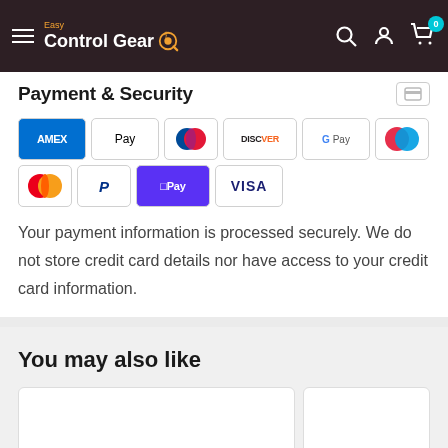Easy Control Gear
Payment & Security
[Figure (other): Payment method icons: American Express, Apple Pay, Diners Club, Discover, Google Pay, Maestro, Mastercard, PayPal, Shop Pay, Visa]
Your payment information is processed securely. We do not store credit card details nor have access to your credit card information.
You may also like